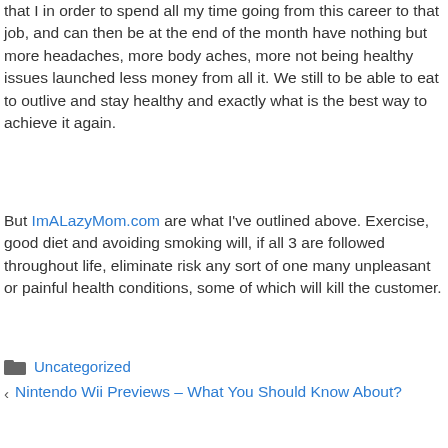that I in order to spend all my time going from this career to that job, and can then be at the end of the month have nothing but more headaches, more body aches, more not being healthy issues launched less money from all it. We still to be able to eat to outlive and stay healthy and exactly what is the best way to achieve it again.
But ImALazyMom.com are what I've outlined above. Exercise, good diet and avoiding smoking will, if all 3 are followed throughout life, eliminate risk any sort of one many unpleasant or painful health conditions, some of which will kill the customer.
Uncategorized
Nintendo Wii Previews – What You Should Know About?